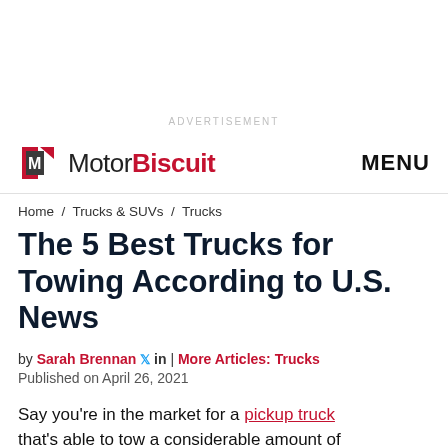ADVERTISEMENT
MotorBiscuit   MENU
Home / Trucks & SUVs / Trucks
The 5 Best Trucks for Towing According to U.S. News
by Sarah Brennan [twitter] in | More Articles: Trucks
Published on April 26, 2021
Say you're in the market for a pickup truck that's able to tow a considerable amount of